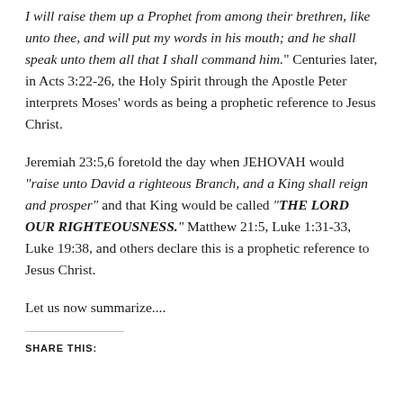I will raise them up a Prophet from among their brethren, like unto thee, and will put my words in his mouth; and he shall speak unto them all that I shall command him." Centuries later, in Acts 3:22-26, the Holy Spirit through the Apostle Peter interprets Moses' words as being a prophetic reference to Jesus Christ.
Jeremiah 23:5,6 foretold the day when JEHOVAH would "raise unto David a righteous Branch, and a King shall reign and prosper" and that King would be called "THE LORD OUR RIGHTEOUSNESS." Matthew 21:5, Luke 1:31-33, Luke 19:38, and others declare this is a prophetic reference to Jesus Christ.
Let us now summarize....
SHARE THIS: